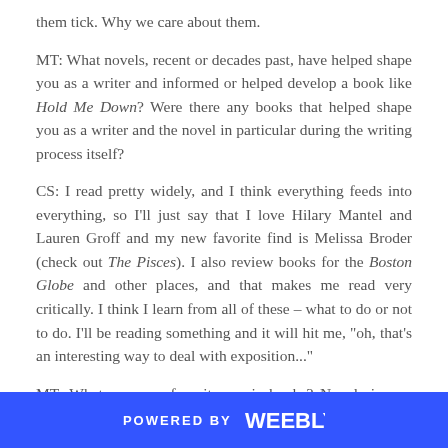them tick. Why we care about them.
MT: What novels, recent or decades past, have helped shape you as a writer and informed or helped develop a book like Hold Me Down? Were there any books that helped shape you as a writer and the novel in particular during the writing process itself?
CS: I read pretty widely, and I think everything feeds into everything, so I'll just say that I love Hilary Mantel and Lauren Groff and my new favorite find is Melissa Broder (check out The Pisces). I also review books for the Boston Globe and other places, and that makes me read very critically. I think I learn from all of these – what to do or not to do. I'll be reading something and it will hit me, "oh, that's an interesting way to deal with exposition..."
MT: What are your favorite music books? Novels in any genre relating to music? What are the best ways crime novels that somehow use music in a really great way that feel incredibly honest or true?
CS: I just wrote a piece on my favorite novels about music but
POWERED BY weebly